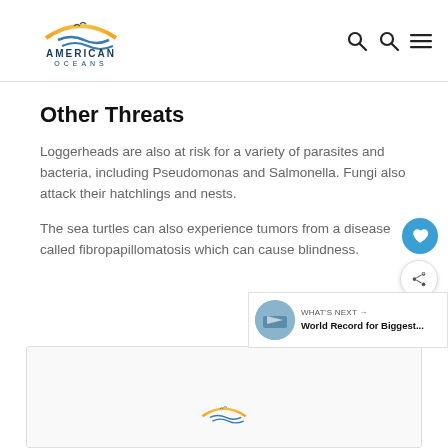American Oceans
Other Threats
Loggerheads are also at risk for a variety of parasites and bacteria, including Pseudomonas and Salmonella. Fungi also attack their hatchlings and nests.
The sea turtles can also experience tumors from a disease called fibropapillomatosis which can cause blindness.
[Figure (screenshot): Bottom box with American Oceans logo partially visible, and a 'What's Next' sidebar showing a thumbnail and title 'World Record for Biggest...']